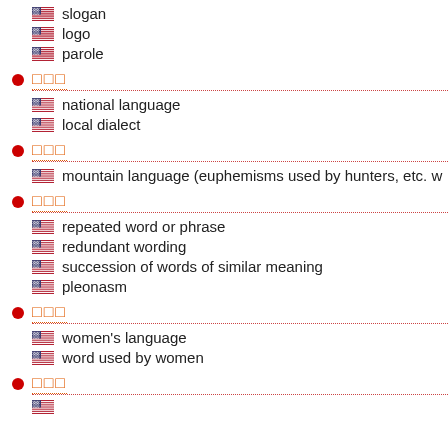slogan
logo
parole
国語 / national language, local dialect
山語 / mountain language (euphemisms used by hunters, etc. w
重語 / repeated word or phrase, redundant wording, succession of words of similar meaning, pleonasm
女語 / women's language, word used by women
語